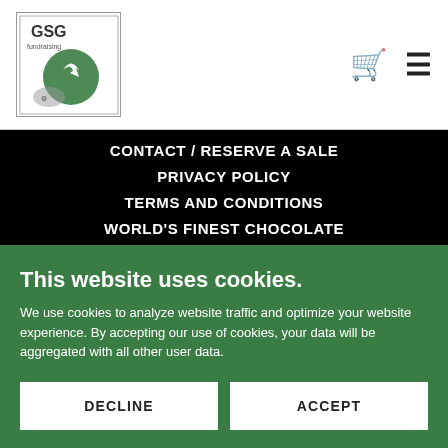[Figure (logo): GSG logo with text and green arrow/icon]
Cart icon and hamburger menu icon
CONTACT / RESERVE A SALE
PRIVACY POLICY
TERMS AND CONDITIONS
WORLD'S FINEST CHOCOLATE
This website uses cookies.
We use cookies to analyze website traffic and optimize your website experience. By accepting our use of cookies, your data will be aggregated with all other user data.
DECLINE
ACCEPT